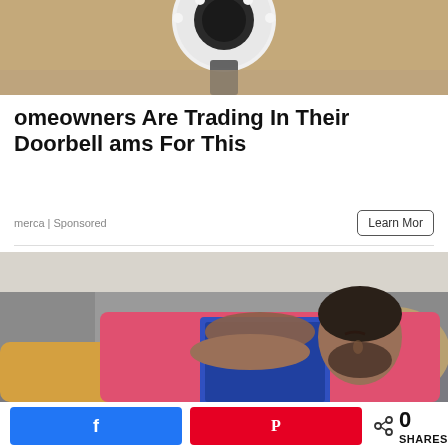[Figure (photo): Top portion of a doorbell camera mounted on a sandy/stone surface, viewed from above]
omeowners Are Trading In Their Doorbell ams For This
merca | Sponsored
Learn More
[Figure (photo): Man sleeping on a gray couch, wearing a pink shirt, with a blue tablet/book on his chest]
0 SHARES